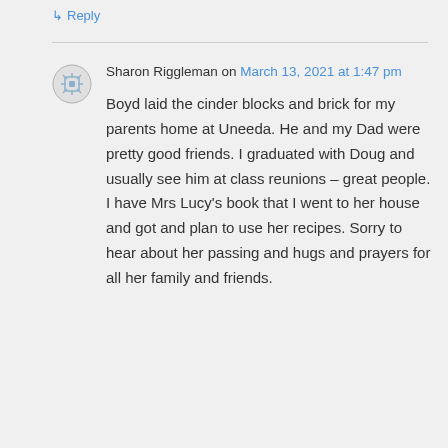↳ Reply
Sharon Riggleman on March 13, 2021 at 1:47 pm
Boyd laid the cinder blocks and brick for my parents home at Uneeda. He and my Dad were pretty good friends. I graduated with Doug and usually see him at class reunions – great people. I have Mrs Lucy's book that I went to her house and got and plan to use her recipes. Sorry to hear about her passing and hugs and prayers for all her family and friends.